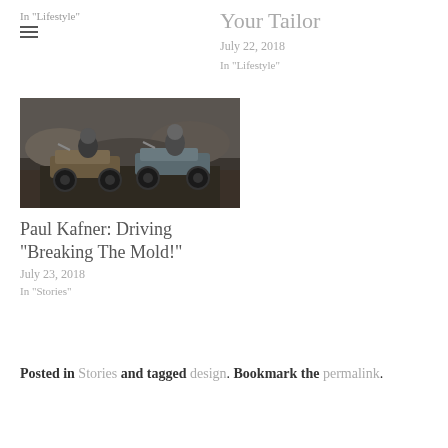In "Lifestyle"
[Figure (other): Hamburger menu icon with three horizontal lines]
Your Tailor
July 22, 2018
In "Lifestyle"
[Figure (photo): Two motorcycle riders on a road, dark moody tones]
Paul Kafner: Driving “Breaking The Mold!”
July 23, 2018
In "Stories"
Posted in Stories and tagged design. Bookmark the permalink.